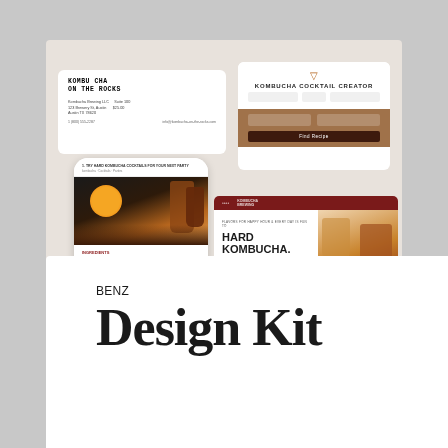[Figure (screenshot): Composite design kit showcase showing: an invoice/business card mockup (Kombu Cha branding), a cocktail recipe finder card with brown/tan color scheme, a mobile phone mockup showing a kombucha cocktail recipe page with drink photography and ingredient list, and a website screenshot showing 'Hard Kombucha. Easy to Drink.' hero section with dark red navigation and food photography.]
BENZ
Design Kit